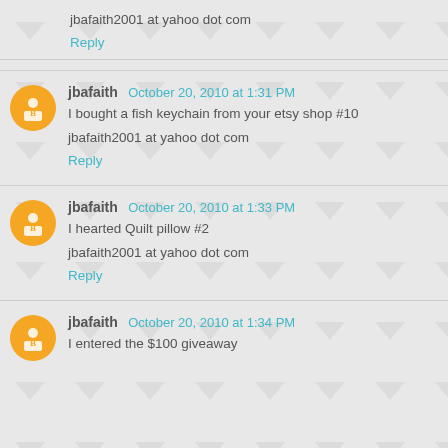jbafaith2001 at yahoo dot com
Reply
jbafaith  October 20, 2010 at 1:31 PM
I bought a fish keychain from your etsy shop #10
jbafaith2001 at yahoo dot com
Reply
jbafaith  October 20, 2010 at 1:33 PM
I hearted Quilt pillow #2
jbafaith2001 at yahoo dot com
Reply
jbafaith  October 20, 2010 at 1:34 PM
I entered the $100 giveaway